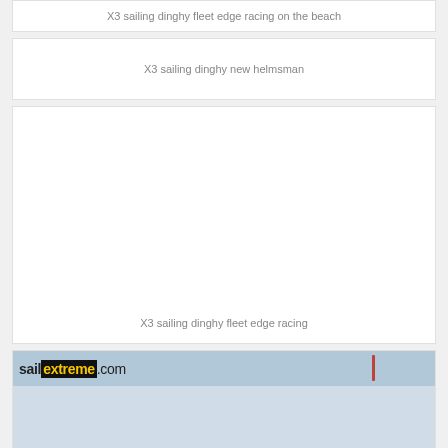X3 sailing dinghy fleet edge racing on the beach
X3 sailing dinghy new helmsman
[Figure (photo): Placeholder image area for X3 sailing dinghy fleet edge racing photo]
X3 sailing dinghy fleet edge racing
[Figure (photo): sailextreme.com banner with mast silhouette and sky background, partial photo of sailing scene below]